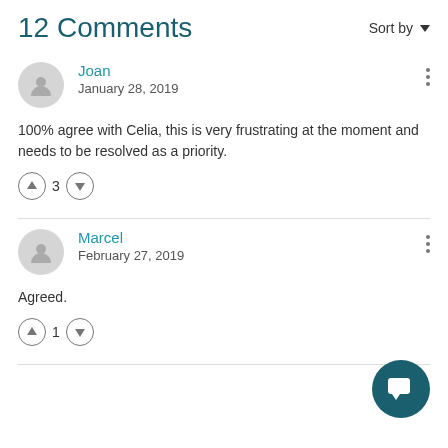12 Comments
Sort by ▼
Joan
January 28, 2019
100% agree with Celia, this is very frustrating at the moment and needs to be resolved as a priority.
↑ 3 ↓
Marcel
February 27, 2019
Agreed.
↑ 1 ↓